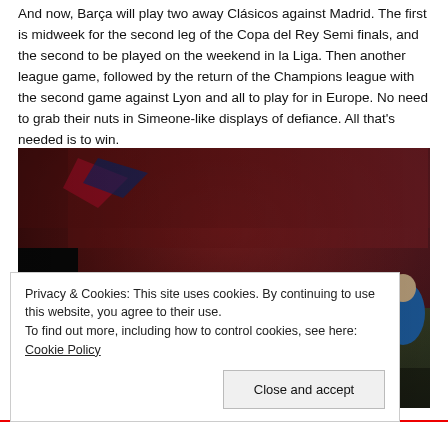And now, Barça will play two away Clásicos against Madrid. The first is midweek for the second leg of the Copa del Rey Semi finals, and the second to be played on the weekend in la Liga. Then another league game, followed by the return of the Champions league with the second game against Lyon and all to play for in Europe. No need to grab their nuts in Simeone-like displays of defiance. All that's needed is to win.
[Figure (photo): A football match scene showing a coach or player kneeling on the sideline in celebration, surrounded by other staff and players. The stadium crowd is visible in the background with red and blue colors.]
Privacy & Cookies: This site uses cookies. By continuing to use this website, you agree to their use.
To find out more, including how to control cookies, see here: Cookie Policy
Close and accept